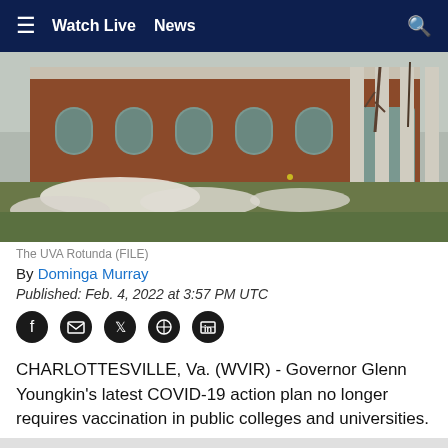≡  Watch Live   News   🔍
[Figure (photo): The UVA Rotunda building in winter with snow on the ground, bare trees visible. A red brick building with white columns and arched windows.]
The UVA Rotunda (FILE)
By Dominga Murray
Published: Feb. 4, 2022 at 3:57 PM UTC
[Figure (other): Social sharing icons: Facebook, Email, Twitter, Pinterest, LinkedIn]
CHARLOTTESVILLE, Va. (WVIR) - Governor Glenn Youngkin's latest COVID-19 action plan no longer requires vaccination in public colleges and universities.
This is a change from former Governor Ralph Northam's the University of Virginia So be on...